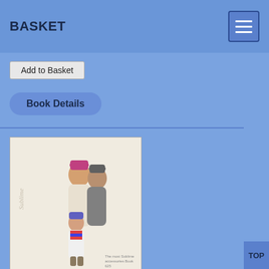BASKET
Add to Basket
Book Details
[Figure (photo): Book cover for 'The most Sublime accessories Book 625' showing a family of three wearing knitted winter accessories including hats and scarves, with the Sublime logo in script on the left side]
The most Sublime accessories Book 625
Sublime extra fine merino wool dk and Sublime cashmere merino silk dk